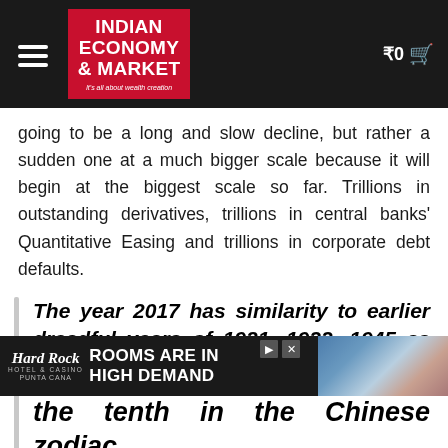Indian Economy & Market — It's all about wealth creation
going to be a long and slow decline, but rather a sudden one at a much bigger scale because it will begin at the biggest scale so far. Trillions in outstanding derivatives, trillions in central banks' Quantitative Easing and trillions in corporate debt defaults.
The year 2017 has similarity to earlier dreadful years of 1921, 1933, 1945 as this also is the year of the Rooster according to the … ooster is the tenth in the Chinese zodiac